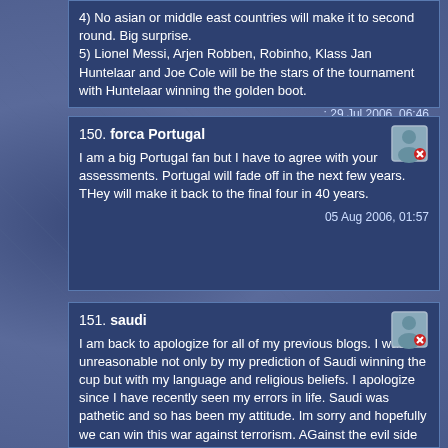4) No asian or middle east countries will make it to second round. Big surprise.
5) Lionel Messi, Arjen Robben, Robinho, Klass Jan Huntelaar and Joe Cole will be the stars of the tournament with Huntelaar winning the golden boot.
29 Jul 2006, 06:46
150. forca Portugal
I am a big Portugal fan but I have to agree with your assessments. Portugal will fade off in the next few years. THey will make it back to the final four in 40 years.
05 Aug 2006, 01:57
151. saudi
I am back to apologize for all of my previous blogs. I was unreasonable not only by my prediction of Saudi winning the cup but with my language and religious beliefs. I apologize since I have recently seen my errors in life. Saudi was pathetic and so has been my attitude. Im sorry and hopefully we can win this war against terrorism. AGainst the evil side of humanity.
09 Sep 2006, 17:29